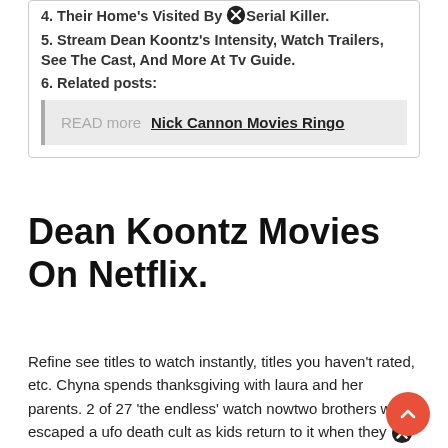4. Their Home's Visited By ✖ Serial Killer.
5. Stream Dean Koontz's Intensity, Watch Trailers, See The Cast, And More At Tv Guide.
6. Related posts:
READ more  Nick Cannon Movies Ringo
Dean Koontz Movies On Netflix.
Refine see titles to watch instantly, titles you haven't rated, etc. Chyna spends thanksgiving with laura and her parents. 2 of 27 'the endless' watch nowtwo brothers who escaped a ufo death cult as kids return to it when they receive a cryptic video message unfortunately. at 51, he is